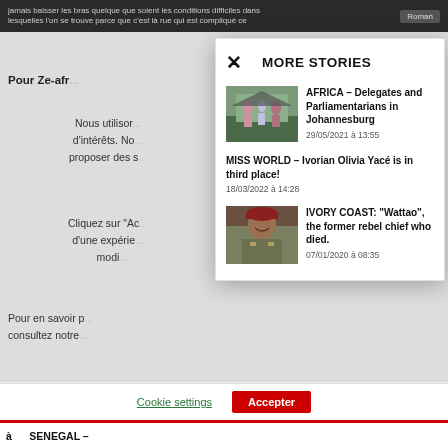jamais baisser les bras quelque que soient les conditions difficiles dans lesquelles l'on se trouve parce que c'est là rue qui est compliqué ce
Pour Ze-afr...
Nous utilisons... d'intérêts. No... proposer des s...
Cliquez sur "Ac... d'une expérie... modi...
Pour en savoir... consultez notre...
MORE STORIES
AFRICA – Delegates and Parliamentarians in Johannesburg
29/05/2021 à 13:55
MISS WORLD – Ivorian Olivia Yacé is in third place!
18/03/2022 à 14:28
IVORY COAST: "Wattao", the former rebel chief who died.
07/01/2020 à 08:35
Cookie settings
Accepter
à ... SENEGAL – ...